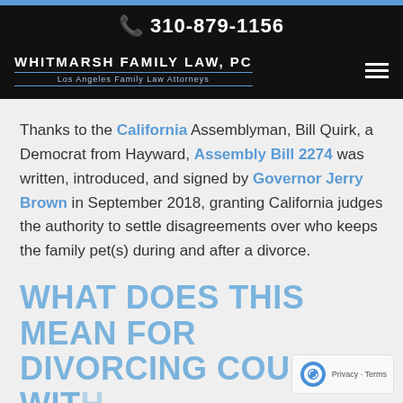310-879-1156
WHITMARSH FAMILY LAW, PC — Los Angeles Family Law Attorneys
Thanks to the California Assemblyman, Bill Quirk, a Democrat from Hayward, Assembly Bill 2274 was written, introduced, and signed by Governor Jerry Brown in September 2018, granting California judges the authority to settle disagreements over who keeps the family pet(s) during and after a divorce.
WHAT DOES THIS MEAN FOR DIVORCING COUPLES WITH PETS IN CALIFORNIA?